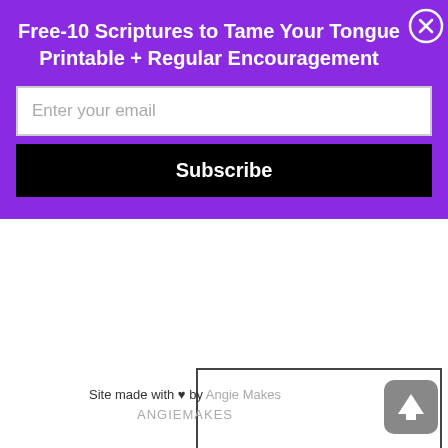Free-10 Scriptures to Tame Your Tongue Printable + Regular Encouragement
[Figure (screenshot): Email input field with placeholder text 'Enter your email']
[Figure (screenshot): Black Subscribe button]
[Figure (screenshot): Close button (X in circle) top right of purple banner]
[Figure (screenshot): White rectangular content box below purple banner]
Site made with ♥ by Angie Makes
ANGIEMAKES
[Figure (screenshot): Gray rounded square scroll-to-top button with upward arrow icon]